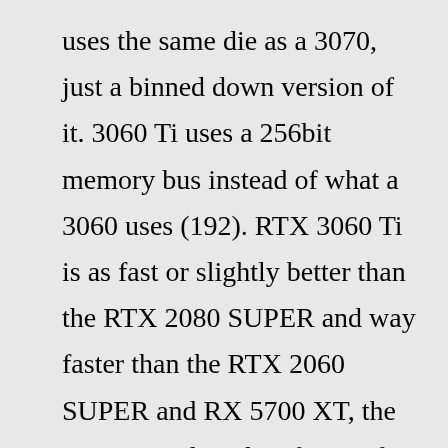uses the same die as a 3070, just a binned down version of it. 3060 Ti uses a 256bit memory bus instead of what a 3060 uses (192). RTX 3060 Ti is as fast or slightly better than the RTX 2080 SUPER and way faster than the RTX 2060 SUPER and RX 5700 XT, the same priced cards. white and gold nightstand wayfairmg trgold earrings for teenage girl ukred dress summer ost